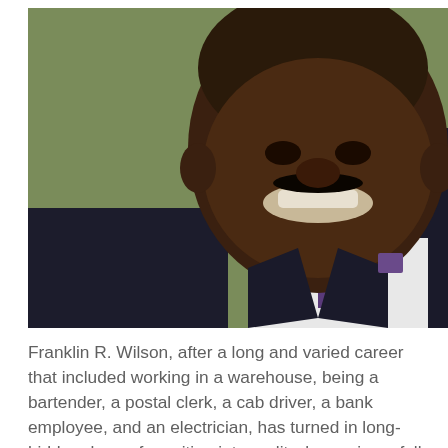[Figure (photo): Portrait photo of Franklin R. Wilson, a smiling African American man wearing a dark suit with a purple tie/pocket square, photographed from roughly chest-up against a blurred background.]
Franklin R. Wilson, after a long and varied career that included working in a warehouse, being a bartender, a postal clerk, a cab driver, a bank employee, and an electrician, has turned in long-hidden dream for writing into reality, becoming a full-time novelist and short story author. He likes to brag, saying: “Writing is one of the few things I haven’t done, but it is the only thing I have a passion for.”
He has three novels debuting during the first half of 2018, with at least two more and a book of short stories to be published the second half of 2018. The first book, titled “Cast A Long Shadow,” is a suspense thriller set in the early days of...